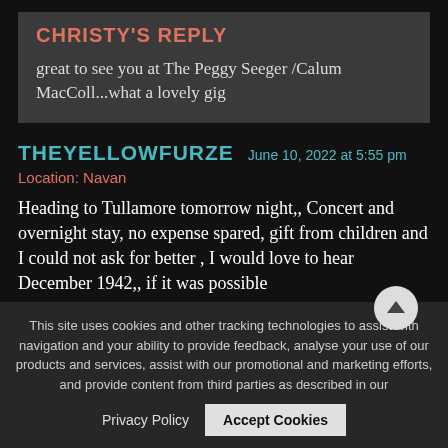CHRISTY'S REPLY
great to see you at The Peggy Seeger /Calum MacColl...what a lovely gig
THEYELLOWFURZE  June 10, 2022 at 5:55 pm
Location: Navan
Heading to Tullamore tomorrow night,, Concert and overnight stay, no expense spared, gift from children and I could not ask for better , I would love to hear December 1942,, if it was possible
This site uses cookies and other tracking technologies to assist with navigation and your ability to provide feedback, analyse your use of our products and services, assist with our promotional and marketing efforts, and provide content from third parties as described in our
Privacy Policy   Accept Cookies